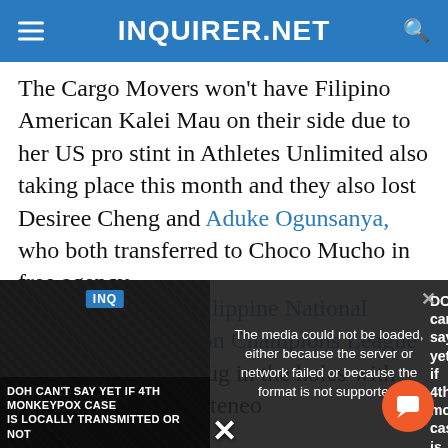INQUIRER.NET
The Cargo Movers won't have Filipino American Kalei Mau on their side due to her US pro stint in Athletes Unlimited also taking place this month and they also lost Desiree Cheng and Aduke Ogunsanya, who both transferred to Choco Mucho in free agency.
But the reigning Philippine National Volleyball Federation Champions League titlist was able to plug in the holes with the signings of ex Ateneo
[Figure (screenshot): Video player overlay showing error message: 'The media could not be loaded, either because the server or network failed or because the format is not supported.' alongside a news thumbnail for 'DOH can't say yet if 4th monkeypox case is locally transmitted or not' with a close/dismiss button and chat button.]